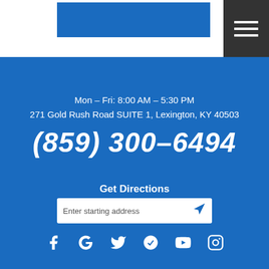[Figure (logo): Blue rectangular logo block in white header area]
[Figure (other): Dark grey hamburger menu button with three white horizontal lines]
Mon – Fri: 8:00 AM – 5:30 PM
271 Gold Rush Road SUITE 1, Lexington, KY 40503
(859) 300–6494
Get Directions
Enter starting address
[Figure (other): Row of social media icons: Facebook, Google, Twitter, Yelp, YouTube, Instagram]